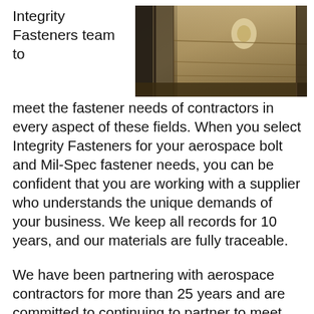Integrity Fasteners team to
[Figure (photo): Aerial or close-up industrial/aerospace component photograph with yellowish-brown tones showing mechanical structure]
meet the fastener needs of contractors in every aspect of these fields. When you select Integrity Fasteners for your aerospace bolt and Mil-Spec fastener needs, you can be confident that you are working with a supplier who understands the unique demands of your business. We keep all records for 10 years, and our materials are fully traceable.
We have been partnering with aerospace contractors for more than 25 years and are committed to continuing to partner to meet the unique needs of these industries. We have supplied aerospace and military fasteners and other aircraft fittings for such high-profile equipment such as the Space Shuttle, unmanned drones, missile systems, shipboard radar for military vessels, and many others.
Integrity Fasteners is a qualified supply listed distributor for